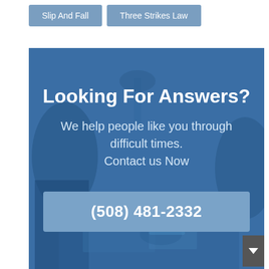Slip And Fall
Three Strikes Law
[Figure (photo): Blue-tinted photo of people at a desk in a legal office setting, used as background for a call-to-action banner]
Looking For Answers?
We help people like you through difficult times. Contact us Now
(508) 481-2332